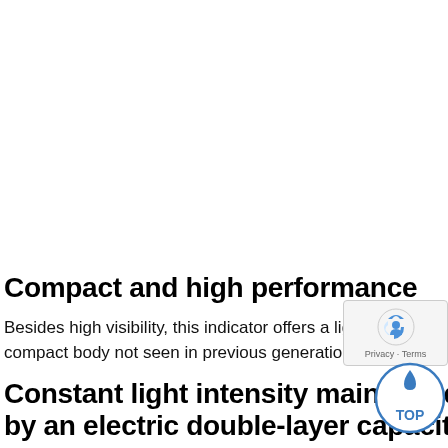Compact and high performance
Besides high visibility, this indicator offers a light compact body not seen in previous generation.
Constant light intensity maintained by an electric double-layer capacitor